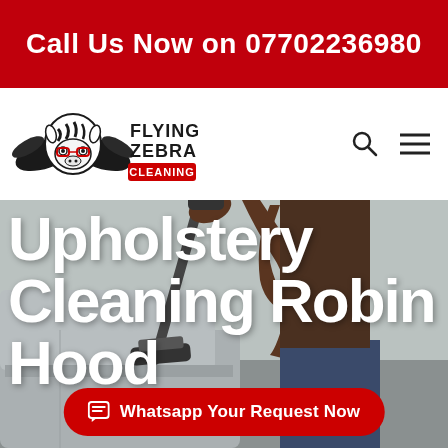Call Us Now on 07702236980
[Figure (logo): Flying Zebra Cleaning logo with winged zebra mascot wearing red glasses and text FLYING ZEBRA CLEANING]
Upholstery Cleaning Robin Hood
[Figure (photo): Person using a vacuum cleaner attachment on a sofa/upholstery]
Whatsapp Your Request Now